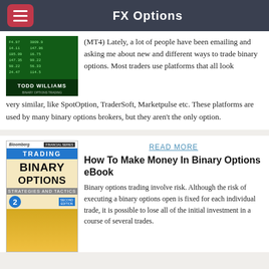FX Options
(MT4) Lately, a lot of people have been emailing and asking me about new and different ways to trade binary options. Most traders use platforms that all look very similar, like SpotOption, TraderSoft, Marketpulse etc. These platforms are used by many binary options brokers, but they aren't the only option.
READ MORE
How To Make Money In Binary Options eBook
Binary options trading involve risk. Although the risk of executing a binary options open is fixed for each individual trade, it is possible to lose all of the initial investment in a course of several trades.